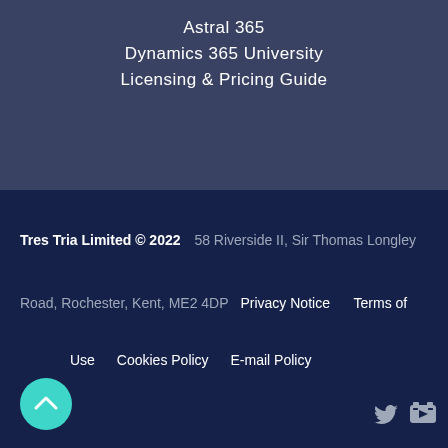Astral 365
Dynamics 365 University
Licensing & Pricing Guide
Tres Tria Limited © 2022   58 Riverside II, Sir Thomas Longley Road, Rochester, Kent, ME2 4DP   Privacy Notice   Terms of Use   Cookies Policy   E-mail Policy